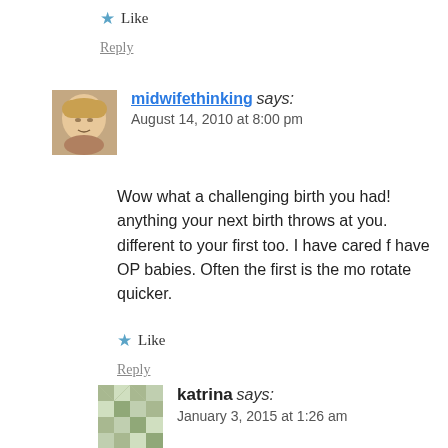★ Like
Reply
midwifethinking says: August 14, 2010 at 8:00 pm
Wow what a challenging birth you had! anything your next birth throws at you. different to your first too. I have cared f have OP babies. Often the first is the mo rotate quicker.
★ Like
Reply
katrina says: January 3, 2015 at 1:26 am